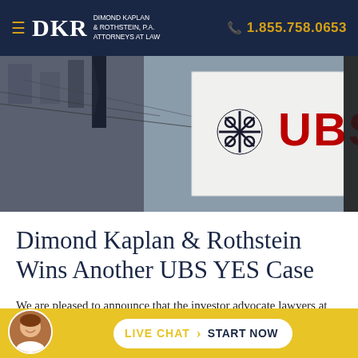DKR DIMOND KAPLAN & ROTHSTEIN, P.A. ATTORNEYS AT LAW | 1.855.758.0653
[Figure (photo): Exterior photo of a UBS bank branch building showing the UBS logo (snowflake/keys emblem in dark color and red UBS lettering) on a white pillar, with a European-style stone building in the background.]
Dimond Kaplan & Rothstein Wins Another UBS YES Case
We are pleased to announce that the investor advocate lawyers at Dimond Kaplan & Rothstein, P.A. have won yet another FINRA arbitration against UBS, this time involving a
LIVE CHAT › START NOW